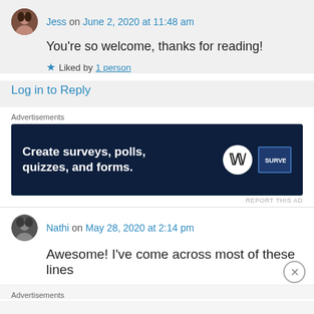Jess on June 2, 2020 at 11:48 am
You're so welcome, thanks for reading!
Liked by 1 person
Log in to Reply
Advertisements
[Figure (screenshot): Dark navy advertisement banner: 'Create surveys, polls, quizzes, and forms.' with WordPress and SurveyMonkey logos]
REPORT THIS AD
Nathi on May 28, 2020 at 2:14 pm
Awesome! I've come across most of these lines
Advertisements
REPORT THIS AD